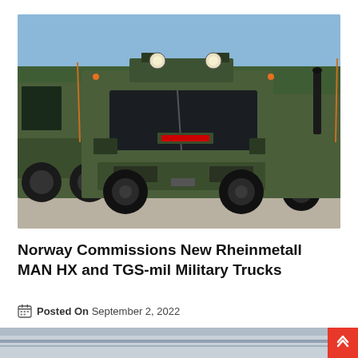[Figure (photo): Two military heavy-duty olive-green trucks (Rheinmetall MAN HX and TGS-mil) parked on a gravel surface with pine trees in the background. The central truck faces forward showing its full front view with reinforced bumper, mounted lights, and communications antennas.]
Norway Commissions New Rheinmetall MAN HX and TGS-mil Military Trucks
Posted On September 2, 2022
[Figure (photo): Partial bottom image, appears to be another military vehicle or equipment, cropped at bottom of page.]